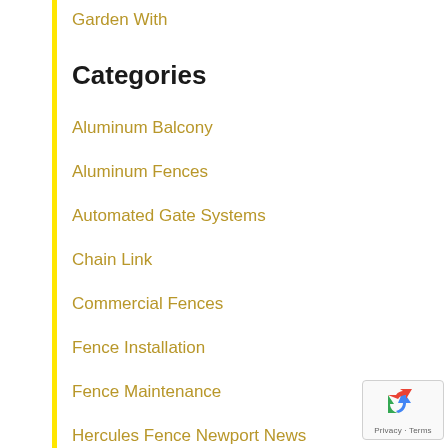Garden With
Categories
Aluminum Balcony
Aluminum Fences
Automated Gate Systems
Chain Link
Commercial Fences
Fence Installation
Fence Maintenance
Hercules Fence Newport News
High Security Fences
[Figure (logo): reCAPTCHA badge with recycling-arrow logo icon and Privacy · Terms text]